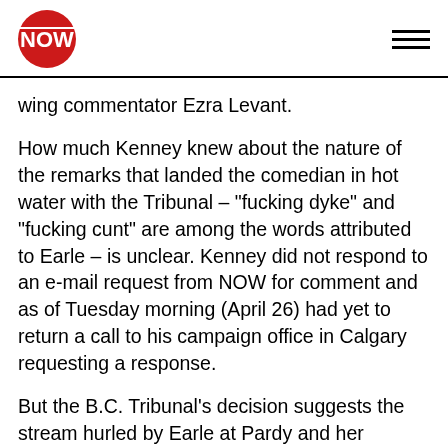NOW
wing commentator Ezra Levant.
How much Kenney knew about the nature of the remarks that landed the comedian in hot water with the Tribunal – "fucking dyke" and "fucking cunt" are among the words attributed to Earle – is unclear. Kenney did not respond to an e-mail request from NOW for comment and as of Tuesday morning (April 26) had yet to return a call to his campaign office in Calgary requesting a response.
But the B.C. Tribunal's decision suggests the stream hurled by Earle at Pardy and her partner at the time was more than a comedian simply testing the boundaries of free speech.
Among the comments attributed to Earle in the